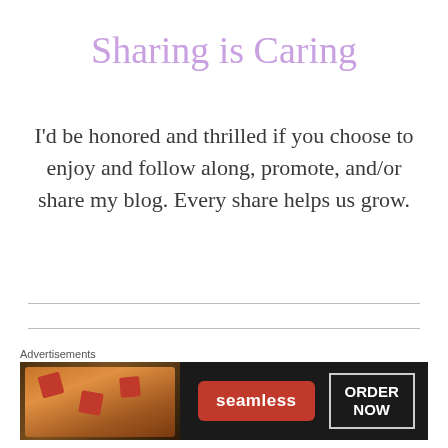Sharing is Caring
I’d be honored and thrilled if you choose to enjoy and follow along, promote, and/or share my blog. Every share helps us grow.
Let’s Discuss!
[Figure (other): Advertisement banner for Seamless food ordering service, showing pizza slices on dark background with red Seamless logo badge and ORDER NOW button]
Advertisements